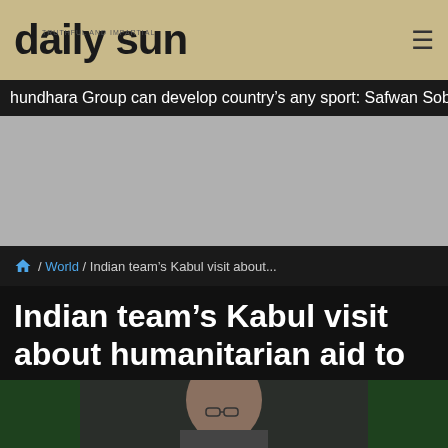daily sun
hundhara Group can develop country's any sport: Safwan Sobhan
[Figure (photo): Gray advertisement/banner placeholder area]
/ World / Indian team's Kabul visit about...
Indian team's Kabul visit about humanitarian aid to Afghans: MEA
[Figure (photo): Photo of a man wearing glasses, seated in front of Indian flags (green and white), appearing to be at a press conference or official briefing]